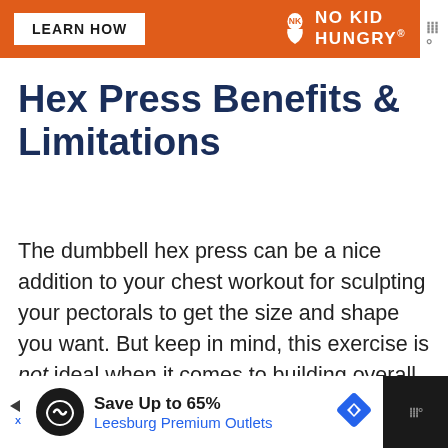[Figure (screenshot): Top advertisement banner with orange background showing 'LEARN HOW' button and 'NO KID HUNGRY' logo]
Hex Press Benefits & Limitations
The dumbbell hex press can be a nice addition to your chest workout for sculpting your pectorals to get the size and shape you want. But keep in mind, this exercise is not ideal when it comes to building overall chest mass.
[Figure (screenshot): Bottom advertisement banner for Leesburg Premium Outlets showing 'Save Up to 65%' on dark background]